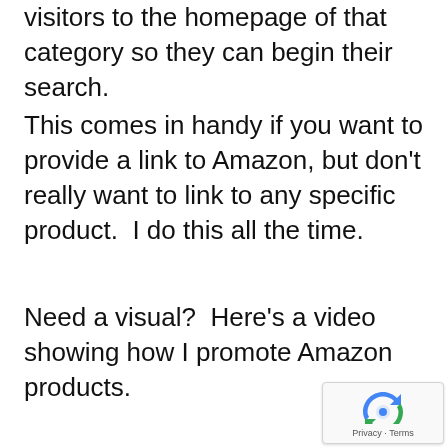Electronics category that will take your visitors to the homepage of that category so they can begin their search.
This comes in handy if you want to provide a link to Amazon, but don't really want to link to any specific product.  I do this all the time.
Need a visual?  Here's a video showing how I promote Amazon products.
[Figure (other): reCAPTCHA badge with Privacy and Terms links]